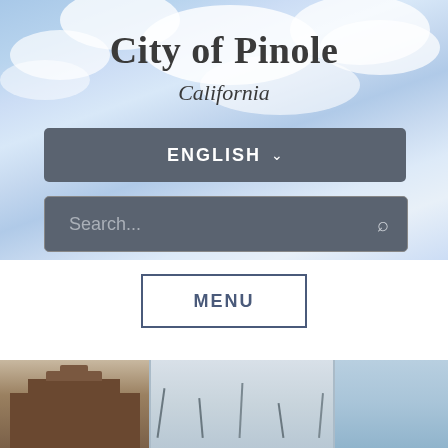[Figure (screenshot): City of Pinole, California website header with sky/cloud background]
City of Pinole
California
ENGLISH
Search...
MENU
[Figure (photo): Three bottom strip photos: building/architecture on left, landscape in center, sky on right]